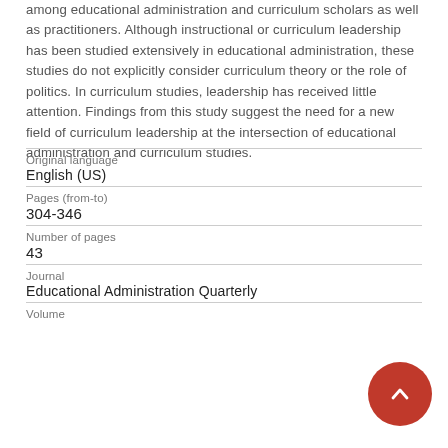among educational administration and curriculum scholars as well as practitioners. Although instructional or curriculum leadership has been studied extensively in educational administration, these studies do not explicitly consider curriculum theory or the role of politics. In curriculum studies, leadership has received little attention. Findings from this study suggest the need for a new field of curriculum leadership at the intersection of educational administration and curriculum studies.
| Field | Value |
| --- | --- |
| Original language | English (US) |
| Pages (from-to) | 304-346 |
| Number of pages | 43 |
| Journal | Educational Administration Quarterly |
| Volume |  |